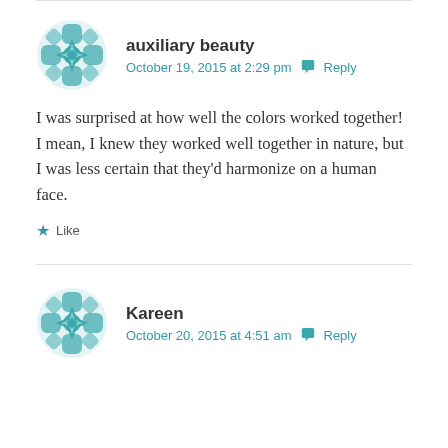[Figure (logo): Teal geometric mandala/snowflake avatar for user auxiliary beauty]
auxiliary beauty
October 19, 2015 at 2:29 pm  Reply
I was surprised at how well the colors worked together! I mean, I knew they worked well together in nature, but I was less certain that they'd harmonize on a human face.
Like
[Figure (logo): Teal geometric mandala/snowflake avatar for user Kareen]
Kareen
October 20, 2015 at 4:51 am  Reply